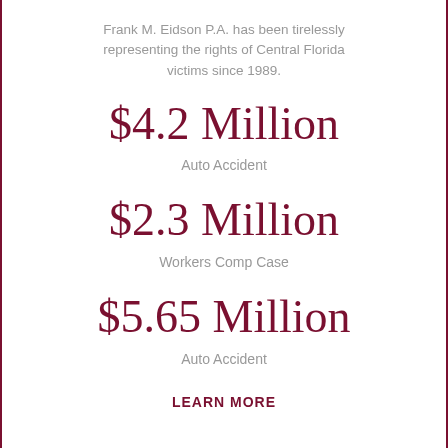Frank M. Eidson P.A. has been tirelessly representing the rights of Central Florida victims since 1989.
$4.2 Million
Auto Accident
$2.3 Million
Workers Comp Case
$5.65 Million
Auto Accident
LEARN MORE